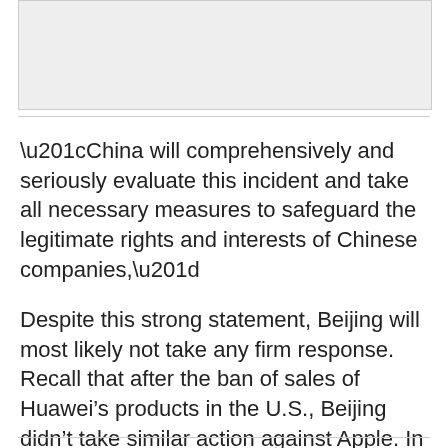[Figure (other): Gray image placeholder area at the top of the page]
“China will comprehensively and seriously evaluate this incident and take all necessary measures to safeguard the legitimate rights and interests of Chinese companies,”
Despite this strong statement, Beijing will most likely not take any firm response. Recall that after the ban of sales of Huawei’s products in the U.S., Beijing didn’t take similar action against Apple. In fact, Apple iPhones are one of the best selling products in China.